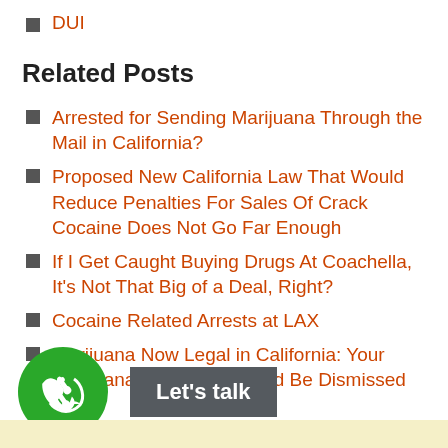DUI
Related Posts
Arrested for Sending Marijuana Through the Mail in California?
Proposed New California Law That Would Reduce Penalties For Sales Of Crack Cocaine Does Not Go Far Enough
If I Get Caught Buying Drugs At Coachella, It's Not That Big of a Deal, Right?
Cocaine Related Arrests at LAX
Marijuana Now Legal in California: Your Marijuana Conviction Could Be Dismissed
[Figure (infographic): Green phone circle button and dark grey 'Let's talk' button at the bottom of the page]